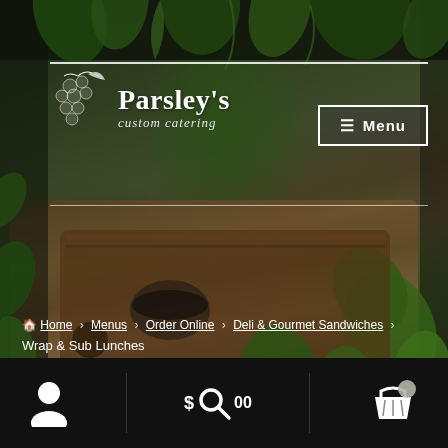[Figure (screenshot): Parsley's Custom Catering website header with herb/food photography background, logo with leaf graphic, and Menu button]
Parsley's custom catering — Menu
Home › Menus › Order Online › Deli & Gourmet Sandwiches › Wrap & Sub Lunches
Wrap & Sub Lunches
$ 0.00 [cart icon]